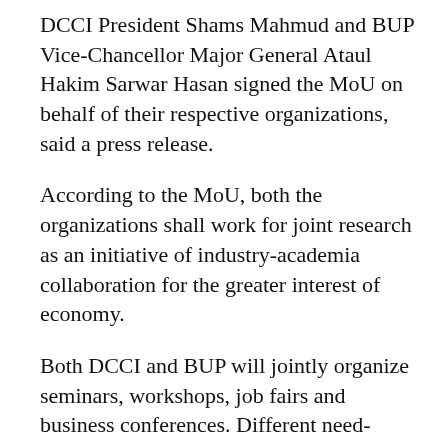DCCI President Shams Mahmud and BUP Vice-Chancellor Major General Ataul Hakim Sarwar Hasan signed the MoU on behalf of their respective organizations, said a press release.
According to the MoU, both the organizations shall work for joint research as an initiative of industry-academia collaboration for the greater interest of economy.
Both DCCI and BUP will jointly organize seminars, workshops, job fairs and business conferences. Different need-based courses, trainings will also be conducted mutually. According to the understanding, DCCI will assist in providing internship to BUP students as well.